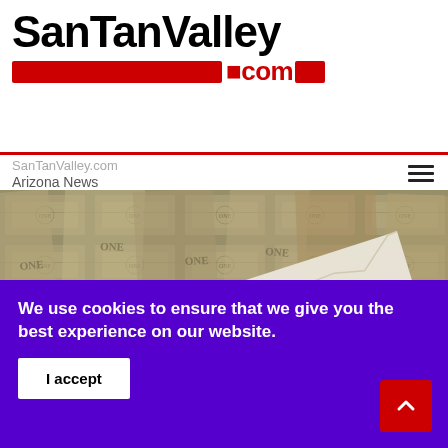SanTanValley .com
SanTanValley.com / Arizona News
[Figure (photo): A torn paper strip reading 'Charitable Giving' laid over US dollar bills in black and white]
We use cookies to ensure that we give you the best experience on our website.
I accept